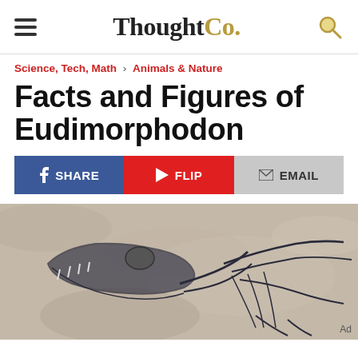ThoughtCo.
Science, Tech, Math › Animals & Nature
Facts and Figures of Eudimorphodon
SHARE | FLIP | EMAIL
[Figure (photo): Fossil specimen of Eudimorphodon, a pterosaur, embedded in stone matrix showing skull and skeletal remains]